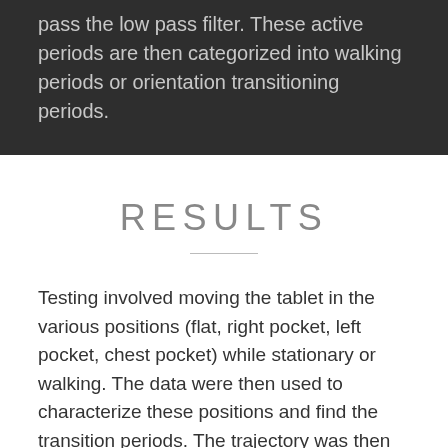pass the low pass filter. These active periods are then categorized into walking periods or orientation transitioning periods.
RESULTS
Testing involved moving the tablet in the various positions (flat, right pocket, left pocket, chest pocket) while stationary or walking. The data were then used to characterize these positions and find the transition periods. The trajectory was then calculated for the transition periods to determine the gesture. The